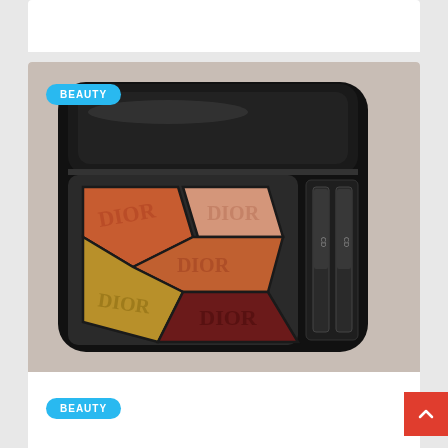[Figure (photo): Dior Mirror Mirror (659) eyeshadow palette in a black compact case, showing five eyeshadow shades in orange, coral, peach, gold, and dark burgundy/brown with Dior branding embossed, alongside two small applicators]
BEAUTY
DIOR MIRROR MIRROR (659) EYESHADOW PALETTE
BEAUTY